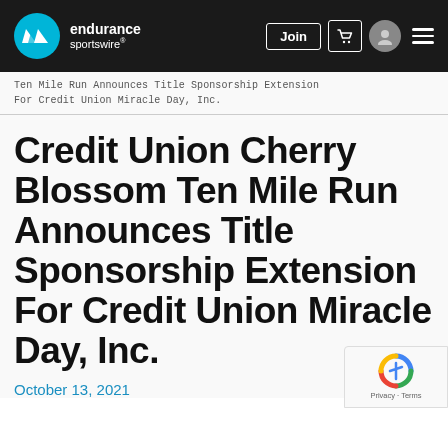endurance sportswire — navbar with Join button, cart, avatar, and menu
Ten Mile Run Announces Title Sponsorship Extension For Credit Union Miracle Day, Inc.
Credit Union Cherry Blossom Ten Mile Run Announces Title Sponsorship Extension For Credit Union Miracle Day, Inc.
October 13, 2021